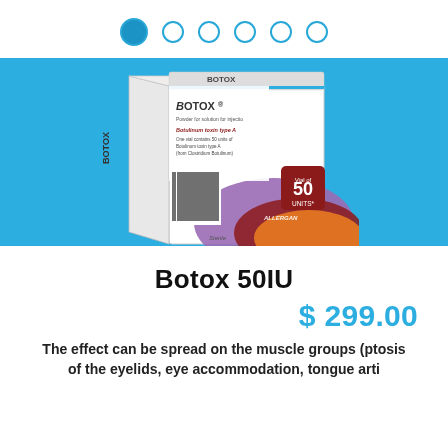[Figure (other): Navigation dot indicators: one large filled blue dot followed by five smaller outlined/filled blue dots in a horizontal row]
[Figure (photo): Botox 50 Units product box by Allergan showing Botulinum toxin type A, powder for solution for injection, with purple and red swoosh design and barcode]
Botox 50IU
$ 299.00
The effect can be spread on the muscle groups (ptosis of the eyelids, eye accommodation, tongue arti